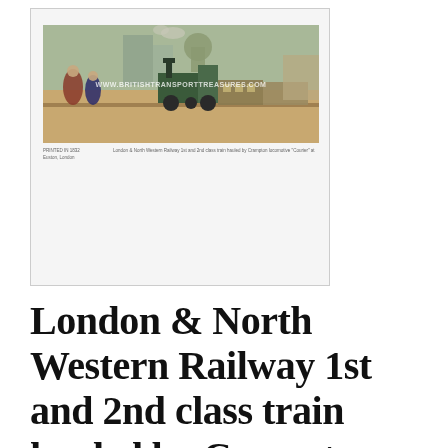[Figure (illustration): A framed card showing a historical illustration of a London & North Western Railway train scene with a Crampton locomotive. The image has a watermark reading WWW.BRITISHTRANSPORTTREASURES.COM overlaid on it. The illustration depicts a steam locomotive with passenger carriages at a station, with figures in Victorian-era clothing. Small caption text appears below the illustration within the card.]
London & North Western Railway 1st and 2nd class train hauled by Crampton locomotive “Courier” at